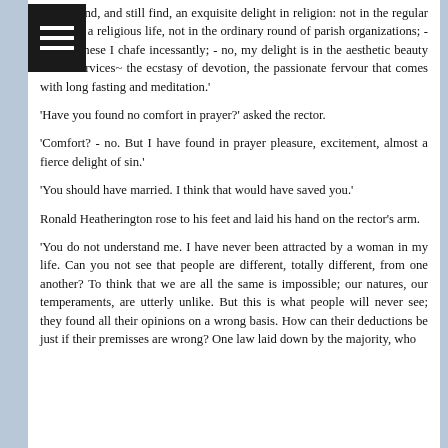have found, and still find, an exquisite delight in religion: not in the regular duties of a religious life, not in the ordinary round of parish organizations; - against these I chafe incessantly; - no, my delight is in the aesthetic beauty of the services~ the ecstasy of devotion, the passionate fervour that comes with long fasting and meditation.'
'Have you found no comfort in prayer?' asked the rector.
'Comfort? - no. But I have found in prayer pleasure, excitement, almost a fierce delight of sin.'
'You should have married. I think that would have saved you.'
Ronald Heatherington rose to his feet and laid his hand on the rector's arm.
'You do not understand me. I have never been attracted by a woman in my life. Can you not see that people are different, totally different, from one another? To think that we are all the same is impossible; our natures, our temperaments, are utterly unlike. But this is what people will never see; they found all their opinions on a wrong basis. How can their deductions be just if their premisses are wrong? One law laid down by the majority, who